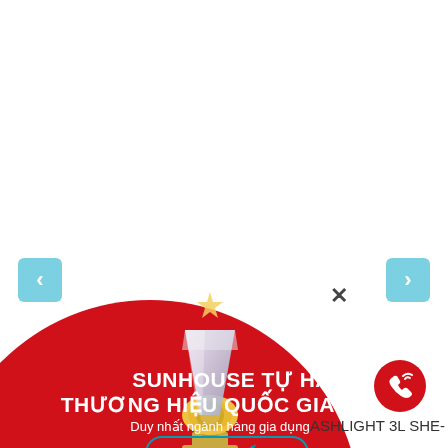[Figure (illustration): Navigation arrow left button (light blue rounded square with < symbol) on left side]
[Figure (illustration): Navigation arrow right button (light blue rounded square with > symbol) on right side]
[Figure (illustration): Close/X button in center]
[Figure (illustration): Large red circle banner background with a gold and silver trophy award in the center]
SUNHOUSE TỰ HÀO THƯƠNG HIỆU QUỐC GIA 2018
Duy nhất ngành hàng gia dụng
ASHLIGHT 3L SHE-
XEM CHI TIẾT >
[Figure (illustration): Red circular phone call button on bottom right]